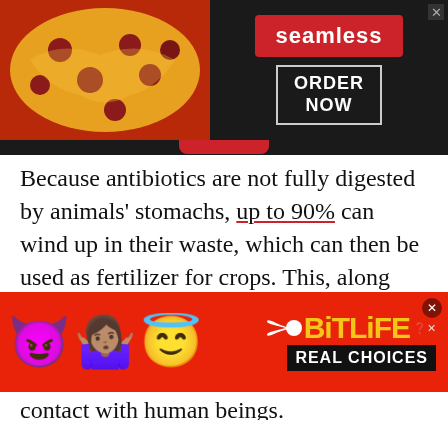[Figure (screenshot): Seamless food delivery advertisement banner with pizza image on left, Seamless red logo button and ORDER NOW button on dark background on right, with a red tab at bottom]
Because antibiotics are not fully digested by animals' stomachs, up to 90% can wind up in their waste, which can then be used as fertilizer for crops. This, along with the direct consumption of animal products such as meat and dairy, is the way that drug-resistant bacteria come into contact with human beings.
[Figure (screenshot): BitLife app advertisement banner with emoji characters (devil, person shrugging, angel) on red background and BitLife REAL CHOICES logo on right]